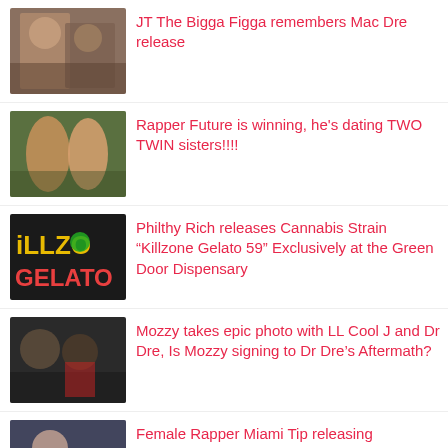JT The Bigga Figga remembers Mac Dre release
Rapper Future is winning, he's dating TWO TWIN sisters!!!!
Philthy Rich releases Cannabis Strain “Killzone Gelato 59” Exclusively at the Green Door Dispensary
Mozzy takes epic photo with LL Cool J and Dr Dre, Is Mozzy signing to Dr Dre’s Aftermath?
Female Rapper Miami Tip releasing “Transition” album July 11th